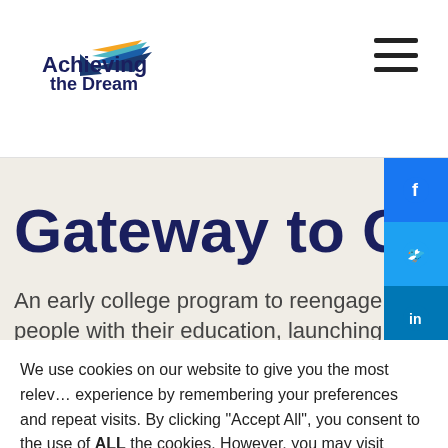[Figure (logo): Achieving the Dream logo with stylized wing/arrow graphic in blue, gold, and green colors]
[Figure (other): Hamburger menu icon (three horizontal lines)]
Gateway to College
An early college program to reengage young people with their education, launching
[Figure (other): Social media share sidebar with Facebook, Twitter, LinkedIn, and copy link buttons]
We use cookies on our website to give you the most relevant experience by remembering your preferences and repeat visits. By clicking "Accept All", you consent to the use of ALL the cookies. However, you may visit "Cookie Settings" to provide a controlled consent. View Full Cookies Policy.